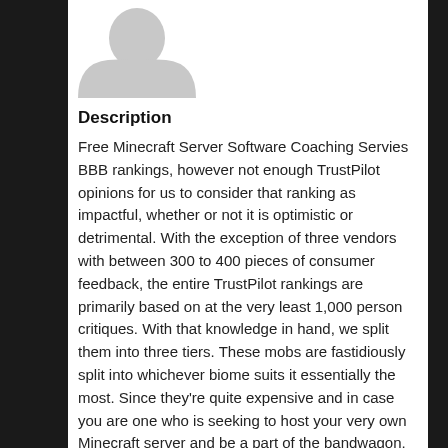[Figure (illustration): Gray silhouette avatar placeholder image, rounded top shape like a person profile icon]
Description
Free Minecraft Server Software Coaching Servies
BBB rankings, however not enough TrustPilot opinions for us to consider that ranking as impactful, whether or not it is optimistic or detrimental. With the exception of three vendors with between 300 to 400 pieces of consumer feedback, the entire TrustPilot rankings are primarily based on at the very least 1,000 person critiques. With that knowledge in hand, we split them into three tiers. These mobs are fastidiously split into whichever biome suits it essentially the most. Since they're quite expensive and in case you are one who is seeking to host your very own Minecraft server and be a part of the bandwagon, then listed here are few tips to realize your goal. Moreover, most of the VPS provider costs listed here mirror the month-to-month rates should you prepay for 12 months of service or extra. Moreover, lots of the prices listed right here reflect the month-to-month charges should you prepay for 12 months of service or more. For all others, the pricing is fairly clear -- there are not any hidden gotchas within the charges. There are various benefits to cloud